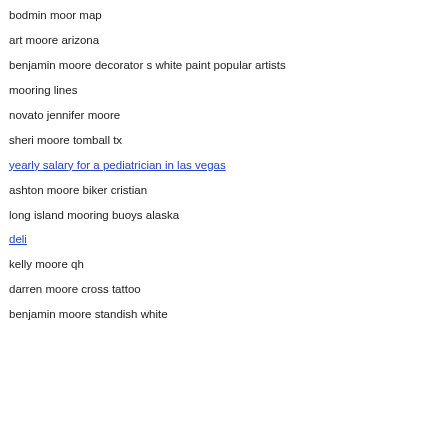bodmin moor map
art moore arizona
benjamin moore decorator s white paint popular artists
mooring lines
novato jennifer moore
sheri moore tomball tx
yearly salary for a pediatrician in las vegas
ashton moore biker cristian
long island mooring buoys alaska
deli
kelly moore qh
darren moore cross tattoo
benjamin moore standish white